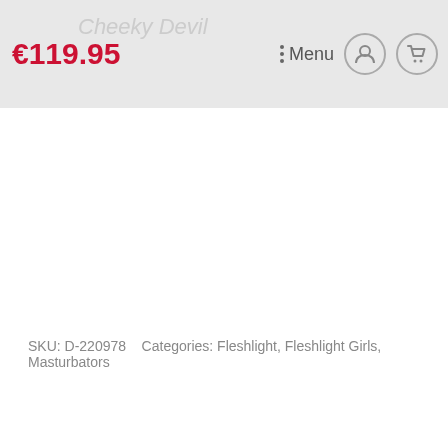€119.95  Cheeky Devil  Menu
SKU: D-220978   Categories: Fleshlight, Fleshlight Girls, Masturbators
→ Description
Additional information
Description